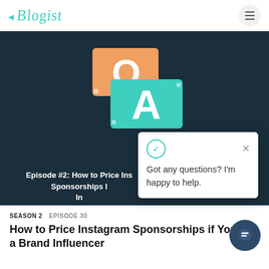4Blogist (navigation bar with logo and hamburger menu)
[Figure (screenshot): Hero image with dark navy background featuring a Q&A graphic: orange speech bubble with 'Q.' and teal speech bubble with 'A'. Episode title overlay reads 'Episode #2: How to Price Instagram Sponsorships In...']
Got any questions? I'm happy to help.
SEASON 2   EPISODE 30
How to Price Instagram Sponsorships if You are a Brand Influencer